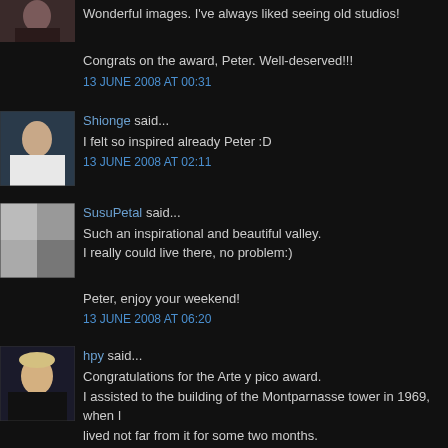[Figure (photo): User avatar thumbnail - woman with dark hair at top left, partially cropped]
Wonderful images. I've always liked seeing old studios!
Congrats on the award, Peter. Well-deserved!!!
13 JUNE 2008 AT 00:31
[Figure (photo): User avatar thumbnail - Shionge, woman outdoors]
Shionge said...
I felt so inspired already Peter :D
13 JUNE 2008 AT 02:11
[Figure (photo): User avatar thumbnail - SusuPetal]
SusuPetal said...
Such an inspirational and beautiful valley.
I really could live there, no problem:)
Peter, enjoy your weekend!
13 JUNE 2008 AT 06:20
[Figure (photo): User avatar thumbnail - hpy, blonde woman]
hpy said...
Congratulations for the Arte y pico award.
I assisted to the building of the Montparnasse tower in 1969, when I lived not far from it for some two months.